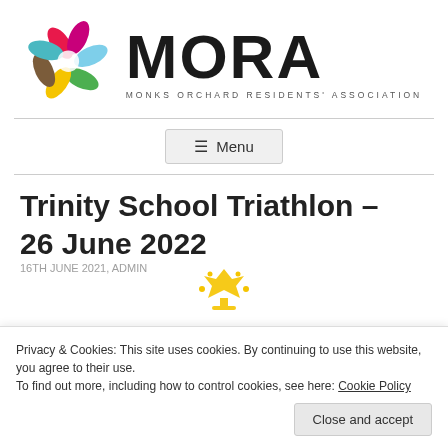[Figure (logo): MORA - Monks Orchard Residents' Association logo with colorful flower/petal graphic on the left and large bold MORA text on the right with subtitle MONKS ORCHARD RESIDENTS' ASSOCIATION]
≡ Menu
Trinity School Triathlon – 26 June 2022
16TH JUNE 2021, ADMIN
[Figure (illustration): Small golden trophy/crown icon partially visible]
Privacy & Cookies: This site uses cookies. By continuing to use this website, you agree to their use. To find out more, including how to control cookies, see here: Cookie Policy
Close and accept